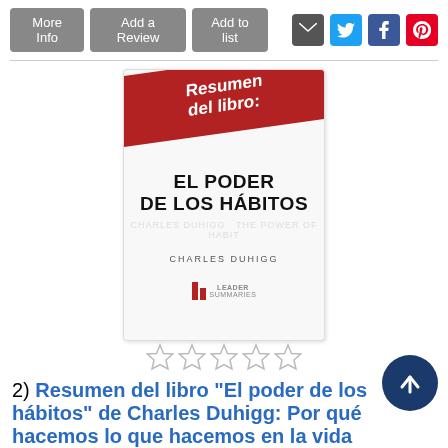More Info | Add a Review | Add to list
[Figure (illustration): Book cover for 'Resumen del libro: El Poder de los Hábitos' by Charles Duhigg, published by Leader Summaries. Red banner at top with white bold text 'Resumen del libro:' and large black bold text 'EL PODER DE LOS HÁBITOS' in the center, author name 'CHARLES DUHIGG' below, and Leader Summaries logo at bottom.]
[Figure (other): Five empty/outline star rating icons]
2) Resumen del libro "El poder de los hábitos" de Charles Duhigg: Por qué hacemos lo que hacemos en la vida empresa
Author
Duhigg, Charles